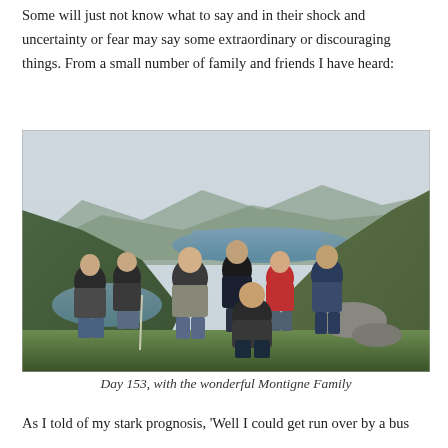Some will just not know what to say and in their shock and uncertainty or fear may say some extraordinary or discouraging things. From a small number of family and friends I have heard:
[Figure (photo): Group of seven people posing on a hillside with a scenic loch and mountain valley visible in the background, overcast sky.]
Day 153, with the wonderful Montigne Family
As I told of my stark prognosis, 'Well I could get run over by a bus